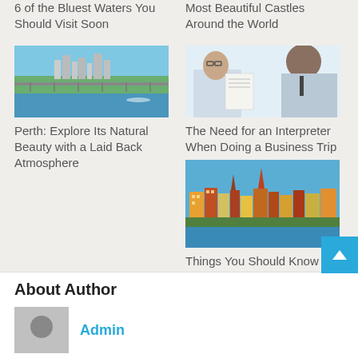6 of the Bluest Waters You Should Visit Soon
Most Beautiful Castles Around the World
[Figure (photo): Aerial view of Perth city with a bridge over a river and waterfront]
Perth: Explore Its Natural Beauty with a Laid Back Atmosphere
[Figure (photo): Two businessmen, one with glasses, looking at a document together]
The Need for an Interpreter When Doing a Business Trip
[Figure (photo): Aerial view of Stockholm old town with colorful buildings and water]
Things You Should Know Before Traveling to Sweden
About Author
Admin